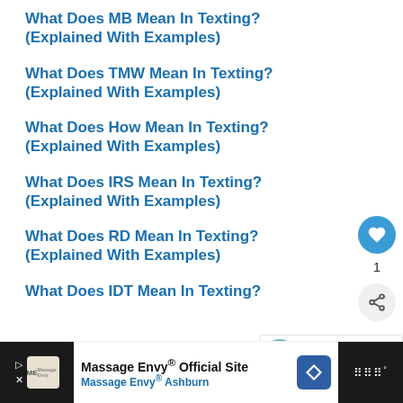What Does MB Mean In Texting? (Explained With Examples)
What Does TMW Mean In Texting? (Explained With Examples)
What Does How Mean In Texting? (Explained With Examples)
What Does IRS Mean In Texting? (Explained With Examples)
What Does RD Mean In Texting? (Explained With Examples)
What Does IDT Mean In Texting?
WHAT'S NEXT → British Slang for Woman (...
Massage Envy® Official Site
Massage Envy® Ashburn